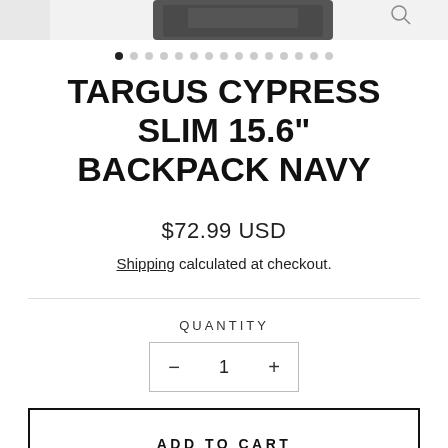[Figure (photo): Partial view of a dark navy Targus backpack product image, cropped at top of page]
TARGUS CYPRESS SLIM 15.6" BACKPACK NAVY
$72.99 USD
Shipping calculated at checkout.
QUANTITY
- 1 +
ADD TO CART